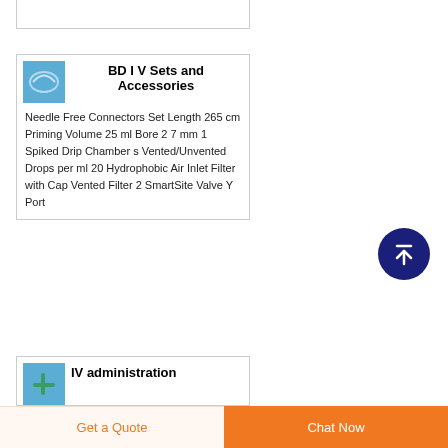[Figure (screenshot): Partial product card at top of page, partially visible]
BD I V Sets and Accessories
Needle Free Connectors Set Length 265 cm Priming Volume 25 ml Bore 2 7 mm 1 Spiked Drip Chamber s Vented/Unvented Drops per ml 20 Hydrophobic Air Inlet Filter with Cap Vented Filter 2 SmartSite Valve Y Port
[Figure (other): Scroll to top button - dark navy circle with upward arrow]
IV administration
Get a Quote
Chat Now